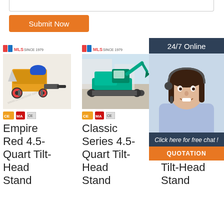[Figure (screenshot): Partial textarea at top of page, bottom edge visible]
Submit Now
[Figure (photo): Product listing: Empire Red 4.5-Quart Tilt-Head Stand mixer, with brand logo, product image, and certification icons]
[Figure (photo): Product listing: Classic Series 4.5-Quart Tilt-Head Stand mixer, with brand logo, product image, and certification icons]
[Figure (photo): Product listing: KitchenAid Classic 4.5-Quart Tilt-Head Stand, partially obscured by chat widget]
[Figure (infographic): 24/7 Online chat widget with customer service photo, 'Click here for free chat!' text, and QUOTATION button]
Empire Red 4.5-Quart Tilt-Head Stand
Classic Series 4.5-Quart Tilt-Head Stand
KitchenAid Classic 4.5-Quart Tilt-Head Stand